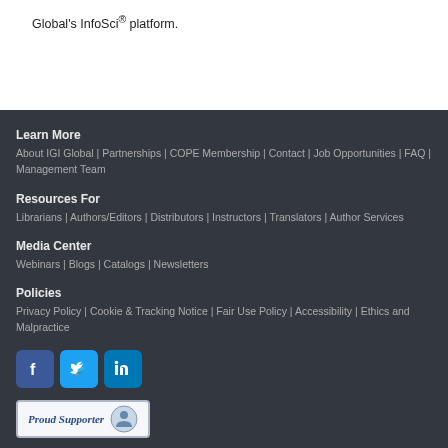Global's InfoSci® platform.
Learn More
About IGI Global | Partnerships | COPE Membership | Contact | Job Opportunities | FAQ | Management Team
Resources For
Librarians | Authors/Editors | Distributors | Instructors | Translators | Author Services
Media Center
Webinars | Blogs | Catalogs | Newsletters
Policies
Privacy Policy | Cookie & Tracking Notice | Fair Use Policy | Accessibility | Ethics and Malpractice
[Figure (other): Social media icons: Facebook, Twitter, LinkedIn]
[Figure (other): Proud Supporter badge with logo]